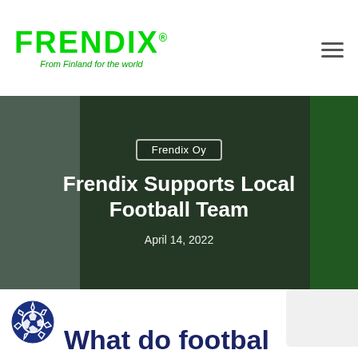[Figure (logo): Frendix logo with green bold text and tagline 'From Finland for the world']
[Figure (photo): Hero photo of two people in black jackets standing in front of green and branded banners, overlaid with dark semi-transparent mask]
Frendix Oy
Frendix Supports Local Football Team
April 14, 2022
What do football